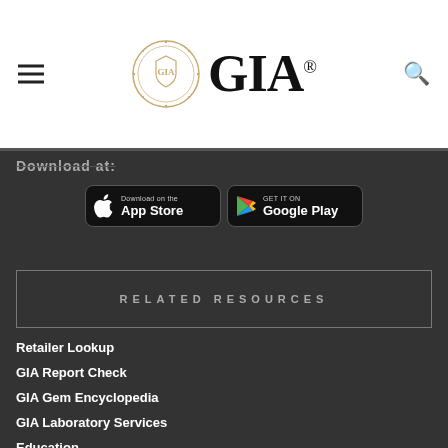GIA
Download at:
[Figure (screenshot): App Store and Google Play download buttons on dark background]
RELATED RESOURCES
Retailer Lookup
GIA Report Check
GIA Gem Encyclopedia
GIA Laboratory Services
Education
Are you a retailer?